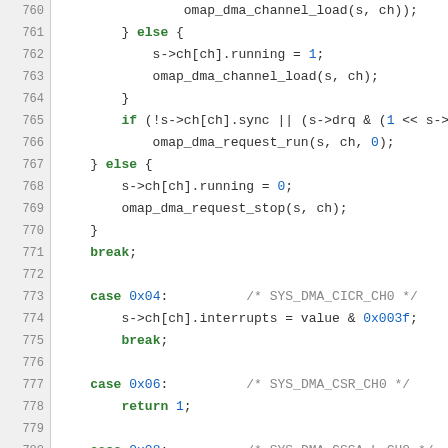[Figure (screenshot): Source code listing lines 760-785 of a C file implementing OMAP DMA channel register write logic, showing case statements for SYS_DMA_CICR_CH0, SYS_DMA_CSR_CH0, SYS_DMA_CSSA_L_CH0, SYS_DMA_CSSA_U_CH0]